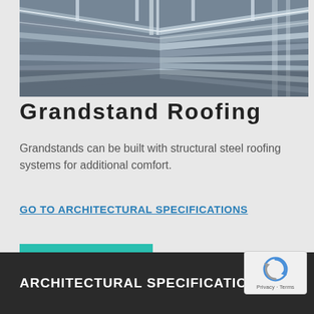[Figure (photo): Overhead view of a grandstand roofing structure showing structural steel beams and purlins from above]
Grandstand Roofing
Grandstands can be built with structural steel roofing systems for additional comfort.
GO TO ARCHITECTURAL SPECIFICATIONS
REQUEST A QUOTE
ARCHITECTURAL SPECIFICATIONS